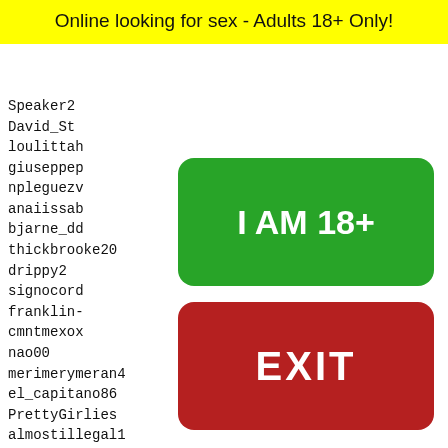Online looking for sex - Adults 18+ Only!
Speaker2
David_St
loulittah
giuseppep
npleguezv
anaiissab
bjarne_dd
thickbrooke20
drippy2
signocord
franklin-
cmntmexox
nao00
merimerymeran4
el_capitano86
PrettyGirlies
almostillegal1
suger2Bdoll
lake-jacksonklbx
Caribb
2004fe
maisie
mobrn
kpu3uc
bendov
[Figure (other): Green button labeled I AM 18+]
[Figure (other): Red button labeled EXIT]
4706 4707 4708 4709 4710
[Figure (photo): Snapchat ghost icon on yellow background with person image]